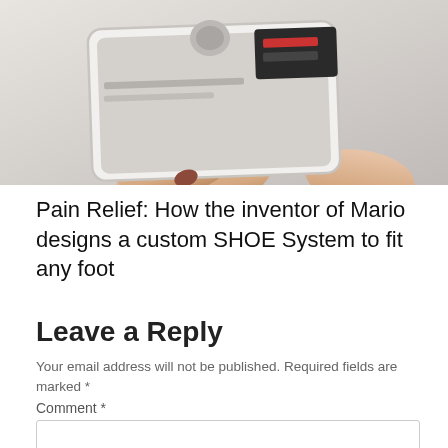[Figure (photo): Person holding a tablet/iPad showing a dark app interface with buttons, photographed from above on a light gray background]
Pain Relief: How the inventor of Mario designs a custom SHOE System to fit any foot
Leave a Reply
Your email address will not be published. Required fields are marked *
Comment *